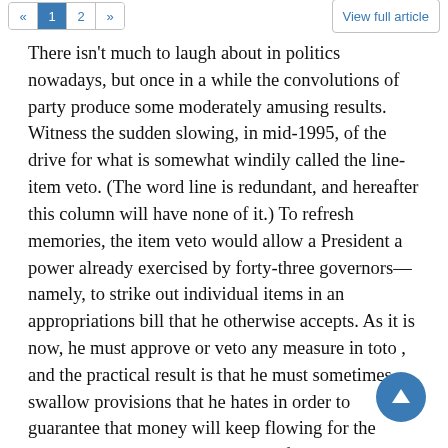« 1 2 » | View full article
There isn't much to laugh about in politics nowadays, but once in a while the convolutions of party produce some moderately amusing results. Witness the sudden slowing, in mid-1995, of the drive for what is somewhat windily called the line-item veto. (The word line is redundant, and hereafter this column will have none of it.) To refresh memories, the item veto would allow a President a power already exercised by forty-three governors—namely, to strike out individual items in an appropriations bill that he otherwise accepts. As it is now, he must approve or veto any measure in toto , and the practical result is that he must sometimes swallow provisions that he hates in order to guarantee that money will keep flowing for the ordinary and necessary expenses of running the government.
When Congress was under Democratic control and Reagan and Bush sat in the White House, Republicans argued vigorously that the item veto